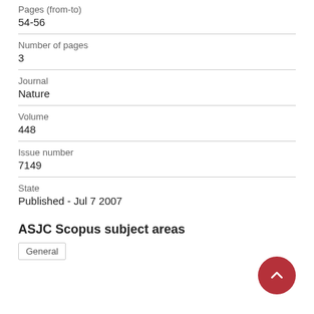Pages (from-to)
54-56
Number of pages
3
Journal
Nature
Volume
448
Issue number
7149
State
Published - Jul 7 2007
ASJC Scopus subject areas
General